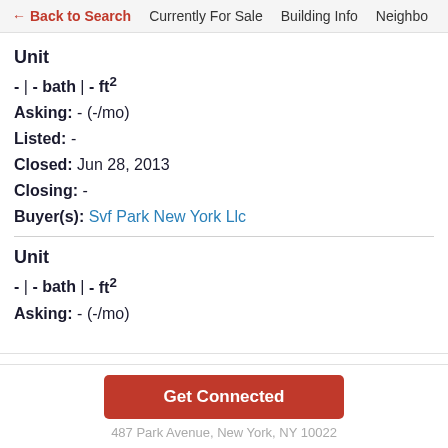← Back to Search   Currently For Sale   Building Info   Neighbo
Unit
- | - bath | - ft²
Asking: - (-/mo)
Listed: -
Closed: Jun 28, 2013
Closing: -
Buyer(s): Svf Park New York Llc
Unit
- | - bath | - ft²
Asking: - (-/mo)
Get Connected
487 Park Avenue, New York, NY 10022